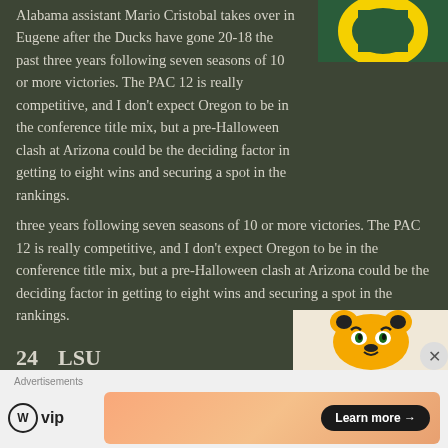Alabama assistant Mario Cristobal takes over in Eugene after the Ducks have gone 20-18 the past three years following seven seasons of 10 or more victories. The PAC 12 is really competitive, and I don't expect Oregon to be in the conference title mix, but a pre-Halloween clash at Arizona could be the deciding factor in getting to eight wins and securing a spot in the rankings.
[Figure (logo): Oregon Ducks logo - green background with yellow O]
24    LSU
Last Season:    9-4
Key Games:    9/2 vs. Miami (FL), 9/15 at Auburn, 10/13 vs. Georgia, 11/3 vs. Alabama
[Figure (logo): LSU Tigers logo - tiger face in gold/black on light background]
Advertisements
[Figure (logo): WordPress VIP logo]
[Figure (other): Advertisement banner with orange/peach gradient and Learn more button]